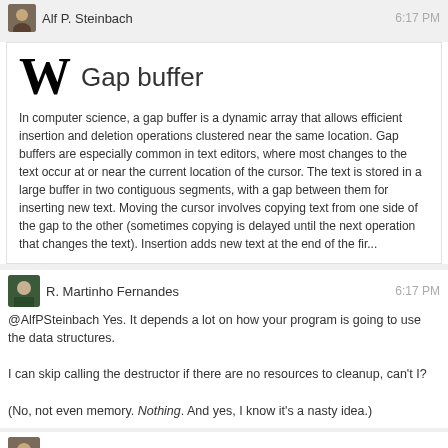Alf P. Steinbach   6:17 PM
[Figure (screenshot): Wikipedia card for 'Gap buffer' showing the Wikipedia W logo and article excerpt]
In computer science, a gap buffer is a dynamic array that allows efficient insertion and deletion operations clustered near the same location. Gap buffers are especially common in text editors, where most changes to the text occur at or near the current location of the cursor. The text is stored in a large buffer in two contiguous segments, with a gap between them for inserting new text. Moving the cursor involves copying text from one side of the gap to the other (sometimes copying is delayed until the next operation that changes the text). Insertion adds new text at the end of the fir...
R. Martinho Fernandes   6:17 PM
@AlfPSteinbach Yes. It depends a lot on how your program is going to use the data structures.
I can skip calling the destructor if there are no resources to cleanup, can't I?
(No, not even memory. Nothing. And yes, I know it's a nasty idea.)
Alf P. Steinbach   6:21 PM
@RMartinhoFernandes Huh, what are you doing where you're calling destructors?
R. Martinho Fernandes   6:21 PM
Imagine it's a POD type constructed with placement new.
Cat Plus Plus   6:21 PM
Destroying all humans objects.